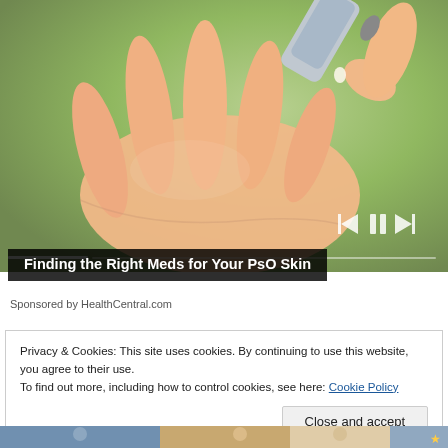[Figure (photo): Close-up photo of a hand with a tube of cream or medication being squeezed onto the palm, green background, medical/skincare context]
Finding the Right Meds for Your PsO Skin
Sponsored by HealthCentral.com
Privacy & Cookies: This site uses cookies. By continuing to use this website, you agree to their use.
To find out more, including how to control cookies, see here: Cookie Policy
Close and accept
[Figure (photo): Bottom strip showing partial images of people, colorful magazine-style thumbnails]